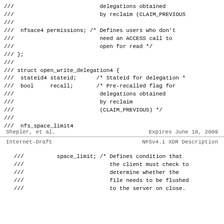/// delegations obtained
/// by reclaim (CLAIM_PREVIOUS
///
/// nfsace4 permissions; /* Defines users who don't
/// need an ACCESS call to
/// open for read */
/// };
///
/// struct open_write_delegation4 {
/// stateid4 stateid; /* Stateid for delegation *
/// bool recall; /* Pre-recalled flag for
/// delegations obtained
/// by reclaim
/// (CLAIM_PREVIOUS) */
///
/// nfs_space_limit4
Shepler, et al.                Expires June 18, 2009
Internet-Draft              NFSv4.1 XDR Description
///         space_limit; /* Defines condition that
///                          the client must check to
///                          determine whether the
///                          file needs to be flushed
///                          to the server on close.